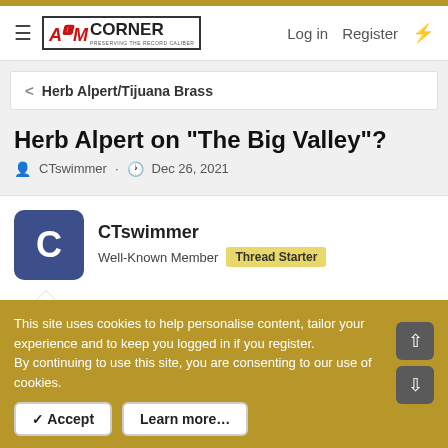AM Corner - Log in | Register
< Herb Alpert/Tijuana Brass
Herb Alpert on "The Big Valley"?
CTswimmer · Dec 26, 2021
CTswimmer
Well-Known Member  Thread Starter
Dec 26, 2021  #1
Holiday greetings to all on the A&M Corner! I saw a horn player on an episode of The Big Valley yesterday and wanted to ask if
This site uses cookies to help personalise content, tailor your experience and to keep you logged in if you register.
By continuing to use this site, you are consenting to our use of cookies.
✓ Accept  Learn more…